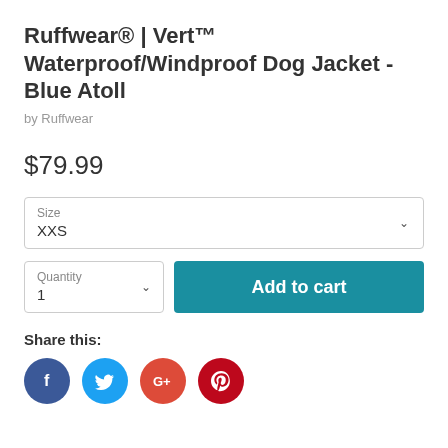Ruffwear® | Vert™ Waterproof/Windproof Dog Jacket - Blue Atoll
by Ruffwear
$79.99
Size
XXS
Quantity
1
Add to cart
Share this:
[Figure (other): Social sharing icons: Facebook (blue circle with f), Twitter (light blue circle with bird), Google+ (red-orange circle with G+), Pinterest (dark red circle with P)]